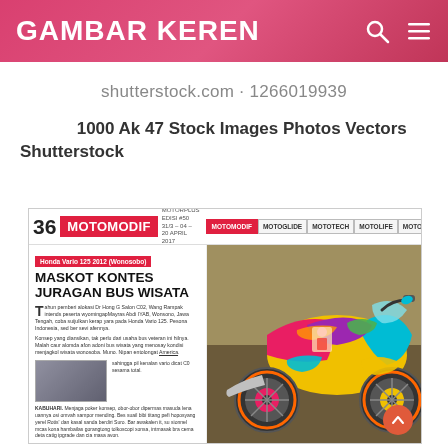GAMBAR KEREN
shutterstock.com · 1266019939
1000 Ak 47 Stock Images Photos Vectors Shutterstock
[Figure (screenshot): Screenshot of a magazine page from Motorplus showing a Honda Vario 125 2012 (Wonosobo) motorcycle article titled MASKOT KONTES JURAGAN BUS WISATA with a colorful custom motorcycle photo. Page 36, MOTOMODIF section with tabs MOTOGLIDE, MOTOTECH, MOTOLIFE, MOTORACE.]